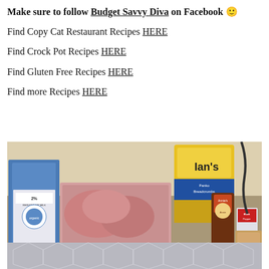Make sure to follow Budget Savvy Diva on Facebook 🙂
Find Copy Cat Restaurant Recipes HERE
Find Crock Pot Recipes HERE
Find Gluten Free Recipes HERE
Find more Recipes HERE
[Figure (photo): Kitchen counter with cooking ingredients: a carton of 2% reduced fat milk (Organic Valley), raw ground meat in packaging, a yellow bag of Ian's Panko Breadcrumbs, a bottle of Annie's sauce, and a small container of black pepper. A partial geometric patterned image is visible at the bottom.]